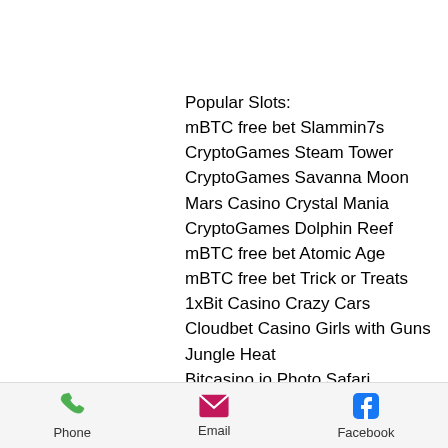Popular Slots:
mBTC free bet Slammin7s
CryptoGames Steam Tower
CryptoGames Savanna Moon
Mars Casino Crystal Mania
CryptoGames Dolphin Reef
mBTC free bet Atomic Age
mBTC free bet Trick or Treats
1xBit Casino Crazy Cars
Cloudbet Casino Girls with Guns Jungle Heat
Bitcasino.io Photo Safari
OneHash Great88
King Billy Casino Opera Night
BetChain Casino Cool Wolf
OneHash Xmas Joker
CryptoGames Captain's Treasure
Phone  Email  Facebook